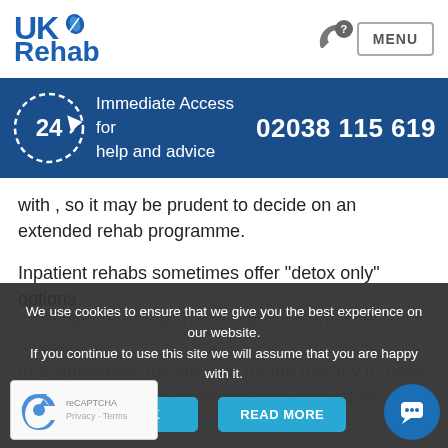[Figure (logo): UK Rehab logo with leaf icon in blue]
[Figure (infographic): 24-hour clock icon with arrow, blue banner with phone number 02038 115 619 and text 'Immediate Access for help and advice']
with , so it may be prudent to decide on an extended rehab programme.
Inpatient rehabs sometimes offer "detox only" options
increased recovery. This will allow more time to adjust to a substance free life, and for the therapy to have a lasting impact on emotional and spiritual we
We use cookies to ensure that we give you the best experience on our website. If you continue to use this site we will assume that you are happy with it.
[Figure (screenshot): reCAPTCHA widget with Privacy - Terms text]
[Figure (other): Blue circular chat bubble icon]